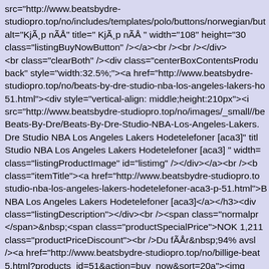src="http://www.beatsbydre-studiopro.top/no/includes/templates/polo/buttons/norwegian/but alt="KjÃ¸p nÃÅ" title=" KjÃ¸p nÃÅ " width="108" height="30 class="listingBuyNowButton" /></a><br /><br /></div> <br class="clearBoth" /><div class="centerBoxContentsProduct back" style="width:32.5%;"><a href="http://www.beatsbydre-studiopro.top/no/beats-by-dre-studio-nba-los-angeles-lakers-ho 51.html"><div style="vertical-align: middle;height:210px"><i src="http://www.beatsbydre-studiopro.top/no/images/_small//be Beats-By-Dre/Beats-By-Dre-Studio-NBA-Los-Angeles-Lakers. Dre Studio NBA Los Angeles Lakers Hodetelefoner [aca3]" titl Studio NBA Los Angeles Lakers Hodetelefoner [aca3] " width= class="listingProductImage" id="listimg" /></div></a><br /><b class="itemTitle"><a href="http://www.beatsbydre-studiopro.to studio-nba-los-angeles-lakers-hodetelefoner-aca3-p-51.html">B NBA Los Angeles Lakers Hodetelefoner [aca3]</a></h3><div class="listingDescription"></div><br /><span class="normalpr </span>&nbsp;<span class="productSpecialPrice">NOK 1,211 class="productPriceDiscount"><br />Du fÃÅr&nbsp;94% avsl /><a href="http://www.beatsbydre-studiopro.top/no/billige-beat 5.html?products_id=51&action=buy_now&sort=20a"><img src="http://www.beatsbydre-studiopro.top/no/includes/templates/polo/buttons/norwegian/bu alt="KjÃ¸p nÃÅ" title=" KjÃ¸p nÃÅ " width="108" height="30 class="listingBuyNowButton" /></a><br /><br /></div>